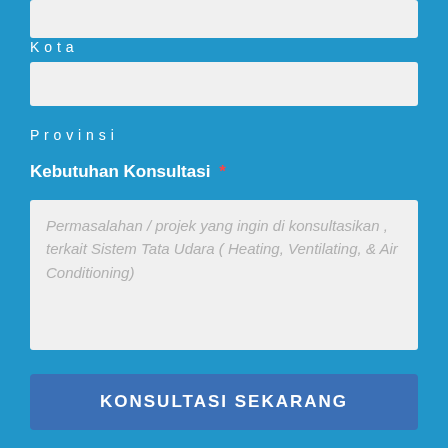[Figure (screenshot): Partial input field visible at top of page (cropped from above)]
Kota
[Figure (other): Text input field for Kota]
Provinsi
Kebutuhan Konsultasi *
Permasalahan / projek yang ingin di konsultasikan , terkait Sistem Tata Udara ( Heating, Ventilating, & Air Conditioning)
KONSULTASI SEKARANG